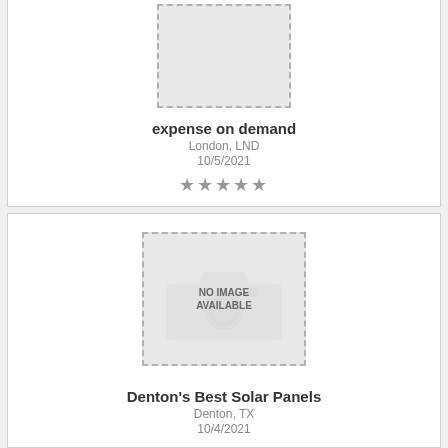[Figure (other): No image available placeholder box (dashed border) for first app listing]
expense on demand
London, LND
10/5/2021
★★★★★
[Figure (other): No image available placeholder box with camera icon (dashed border) for second app listing]
Denton's Best Solar Panels
Denton, TX
10/4/2021